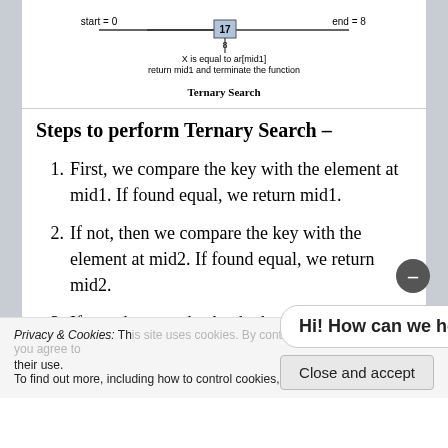[Figure (infographic): Ternary Search diagram showing start=0, end=8, mid=17 highlighted, with arrow and label 'X is equal to ar[mid1] return mid1 and terminate the function']
Ternary Search
Steps to perform Ternary Search –
First, we compare the key with the element at mid1. If found equal, we return mid1.
If not, then we compare the key with the element at mid2. If found equal, we return mid2.
If not, then we check whether the key is less than the element at mid1. If yes, then recur to the first part.
Privacy & Cookies: This site uses cookies. By continuing to use this website, you agree to their use. To find out more, including how to control cookies, see here: Cookie Policy
Hi! How can we help you?